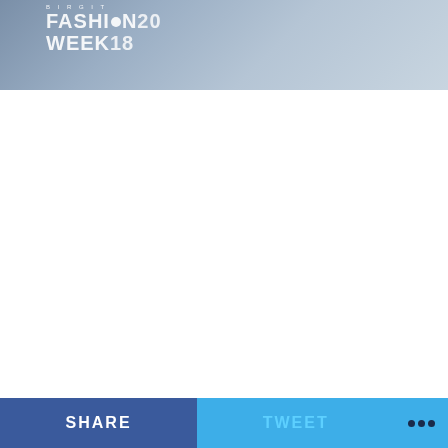[Figure (photo): Fashion Week 2018 banner image with blue-grey gradient background and white logo text reading FASHION WEEK 2018]
[Figure (screenshot): White empty content area below the banner]
[Figure (screenshot): Bottom navigation bar with SHARE button (dark blue), TWEET button (light blue), and three-dot more button (light blue)]